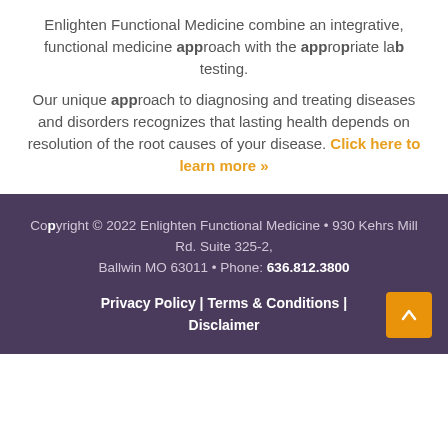Enlighten Functional Medicine combine an integrative, functional medicine approach with the appropriate lab testing.
Our unique approach to diagnosing and treating diseases and disorders recognizes that lasting health depends on resolution of the root causes of your disease. Click here to learn more »
Copyright © 2022 Enlighten Functional Medicine • 930 Kehrs Mill Rd. Suite 325-2, Ballwin MO 63011 • Phone: 636.812.3800
Privacy Policy | Terms & Conditions | Disclaimer